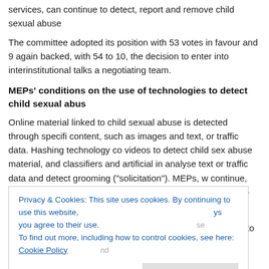services, can continue to detect, report and remove child sexual abuse
The committee adopted its position with 53 votes in favour and 9 against, backed, with 54 to 10, the decision to enter into interinstitutional talks and a negotiating team.
MEPs' conditions on the use of technologies to detect child sexual abuse
Online material linked to child sexual abuse is detected through specific content, such as images and text, or traffic data. Hashing technology compares videos to detect child sex abuse material, and classifiers and artificial intelligence analyse text or traffic data and detect grooming ("solicitation"). MEPs, wanting it to continue, agreed that this material has to be processed using technology least intrusive to privacy.
MEPs demand that the technology used should not be able to understand
Privacy & Cookies: This site uses cookies. By continuing to use this website, you agree to their use.
To find out more, including how to control cookies, see here: Cookie Policy
This legislation should not be interpreted as prohibiting or weakening e